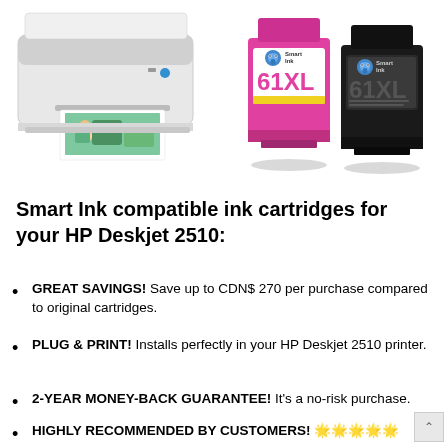[Figure (photo): HP Deskjet printer printing a photo of a child in nature, alongside two Smart Ink 61XL compatible ink cartridges (pink/color and black)]
Smart Ink compatible ink cartridges for your HP Deskjet 2510:
GREAT SAVINGS! Save up to CDN$ 270 per purchase compared to original cartridges.
PLUG & PRINT! Installs perfectly in your HP Deskjet 2510 printer.
2-YEAR MONEY-BACK GUARANTEE! It's a no-risk purchase.
HIGHLY RECOMMENDED BY CUSTOMERS! 🌟🌟🌟🌟🌟